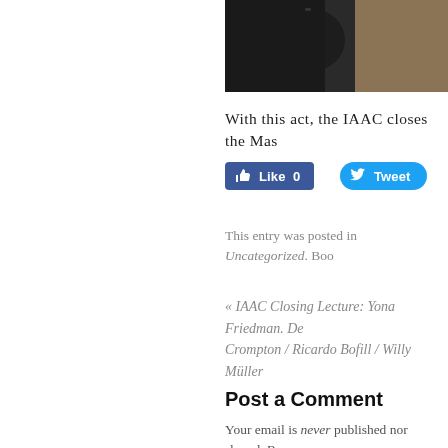[Figure (photo): Partial photo of a person, dark background with warm tan/brown tones, cropped at top of page]
With this act, the IAAC closes the Mas
[Figure (other): Facebook Like button with count 0]
[Figure (other): Twitter Tweet button]
This entry was posted in Uncategorized. Boo
« IAAC Closing Lecture: Yona Friedman. De
Crompton / Ricardo Bofill / Willy Müller
Post a Comment
Your email is never published nor shared. Re
Name *
Email *